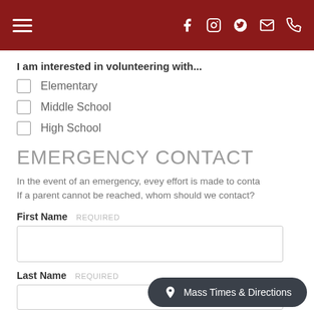Navigation header with hamburger menu and social/contact icons on dark red background
I am interested in volunteering with...
Elementary
Middle School
High School
EMERGENCY CONTACT
In the event of an emergency, evey effort is made to conta... If a parent cannot be reached, whom should we contact?
First Name REQUIRED
Last Name REQUIRED